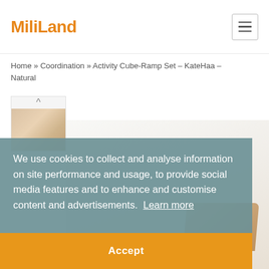MiliLand [logo] | [hamburger menu]
Home » Coordination » Activity Cube-Ramp Set – KateHaa – Natural
[Figure (photo): Thumbnail image of wooden activity cube-ramp set with upward chevron arrow above it]
[Figure (photo): Product image of wooden activity cube-ramp set on white background]
We use cookies to collect and analyse information on site performance and usage, to provide social media features and to enhance and customise content and advertisements. Learn more
Accept